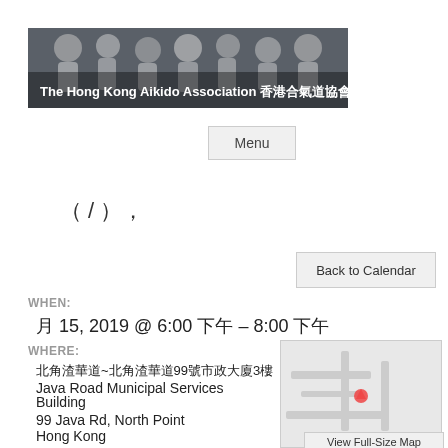[Figure (photo): Banner image of The Hong Kong Aikido Association with people in white aikido uniforms and Chinese/English text overlay]
The Hong Kong Aikido Association 香港合氣道協會
Menu
（ / ），
Back to Calendar
WHEN:
月 15, 2019 @ 6:00 下午 – 8:00 下午
WHERE:
北角渣華道~北角渣華道99號市政大廈3樓
Java Road Municipal Services Building
99 Java Rd, North Point
Hong Kong
[Figure (map): Embedded map showing location of Java Road Municipal Services Building]
View Full-Size Map